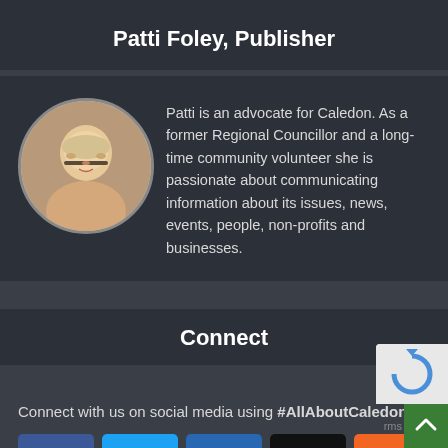Patti Foley, Publisher
[Figure (photo): Circular portrait photo of Patti Foley, a woman with short blonde hair and glasses, smiling]
Patti is an advocate for Caledon. As a former Regional Councillor and a long-time community volunteer she is passionate about communicating information about its issues, news, events, people, non-profits and businesses.
Connect
Connect with us on social media using #AllAboutCaledon
[Figure (illustration): Row of social media icon buttons: Facebook (blue), Twitter (light blue), LinkedIn (dark blue), Instagram (black), RSS (orange)]